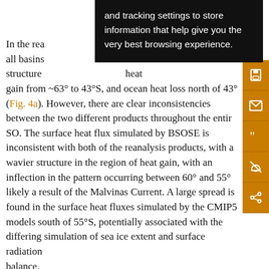In the reanalysis products, heat gain occurs across all basins… structure … heat gain from ~63° to 43°S, and ocean heat loss north of 43° (Fig. 4a). However, there are clear inconsistencies between the two different products throughout the entire SO. The surface heat flux simulated by BSOSE is inconsistent with both of the reanalysis products, with a wavier structure in the region of heat gain, with an inflection in the pattern occurring between 60° and 55°S, likely a result of the Malvinas Current. A large spread is found in the surface heat fluxes simulated by the CMIP5 models south of 55°S, potentially associated with the differing simulation of sea ice extent and surface radiation balance.